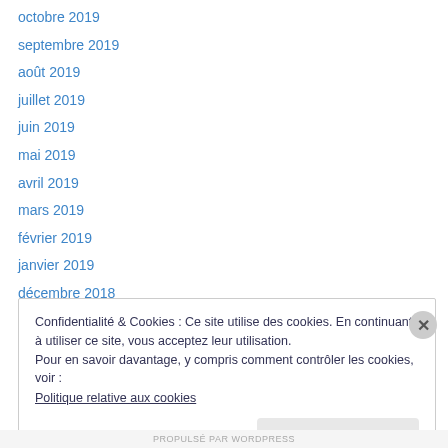octobre 2019
septembre 2019
août 2019
juillet 2019
juin 2019
mai 2019
avril 2019
mars 2019
février 2019
janvier 2019
décembre 2018
novembre 2018
octobre 2018
Confidentialité & Cookies : Ce site utilise des cookies. En continuant à utiliser ce site, vous acceptez leur utilisation.
Pour en savoir davantage, y compris comment contrôler les cookies, voir :
Politique relative aux cookies
Fermer et accepter